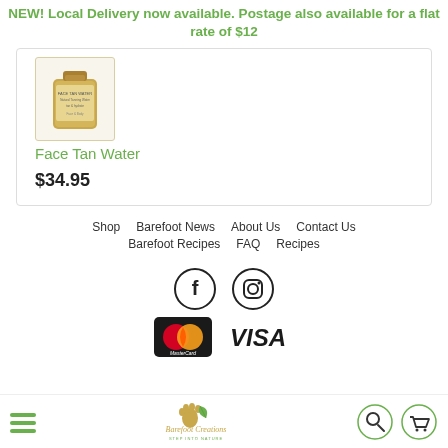NEW! Local Delivery now available. Postage also available for a flat rate of $12
[Figure (photo): Gold bottle of Face Tan Water product]
Face Tan Water
$34.95
Shop    Barefoot News    About Us    Contact Us    Barefoot Recipes    FAQ    Recipes
[Figure (infographic): Facebook and Instagram social media icons in circles]
[Figure (infographic): MasterCard and VISA payment method logos]
[Figure (logo): Barefoot Creations logo - Step Into Nature with footprint and leaf]
Hamburger menu icon, Barefoot Creations logo, search icon, cart icon